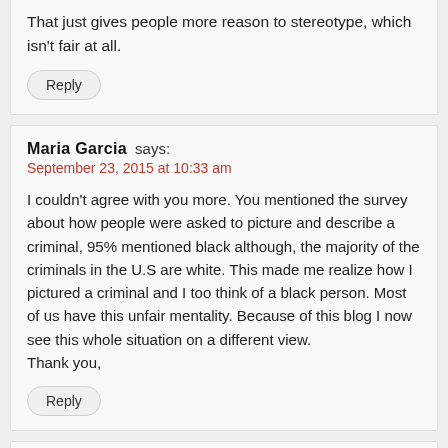That just gives people more reason to stereotype, which isn't fair at all.
Reply
Maria Garcia says:
September 23, 2015 at 10:33 am
I couldn't agree with you more. You mentioned the survey about how people were asked to picture and describe a criminal, 95% mentioned black although, the majority of the criminals in the U.S are white. This made me realize how I pictured a criminal and I too think of a black person. Most of us have this unfair mentality. Because of this blog I now see this whole situation on a different view.
Thank you,
Reply
Halie Taylor says:
September 23, 2015 at 11:30 am